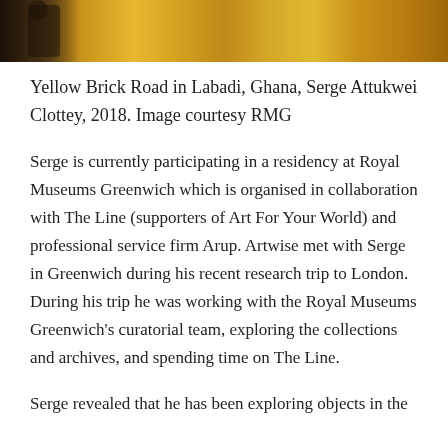[Figure (photo): Partial view of an artwork showing yellow/golden textured surface with a figure visible on the left side, likely Yellow Brick Road by Serge Attukwei Clottey]
Yellow Brick Road in Labadi, Ghana, Serge Attukwei Clottey, 2018. Image courtesy RMG
Serge is currently participating in a residency at Royal Museums Greenwich which is organised in collaboration with The Line (supporters of Art For Your World) and professional service firm Arup. Artwise met with Serge in Greenwich during his recent research trip to London. During his trip he was working with the Royal Museums Greenwich’s curatorial team, exploring the collections and archives, and spending time on The Line.
Serge revealed that he has been exploring objects in the